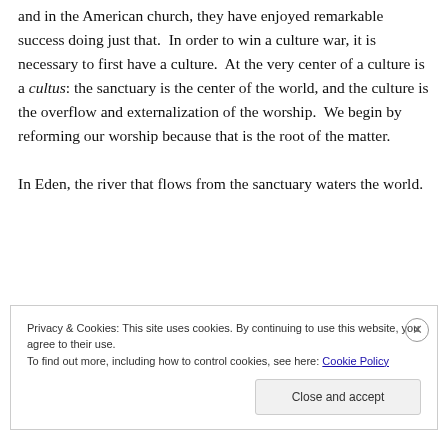have no defense. All they can do is get us to stop using it, and in the American church, they have enjoyed remarkable success doing just that. In order to win a culture war, it is necessary to first have a culture. At the very center of a culture is a cultus: the sanctuary is the center of the world, and the culture is the overflow and externalization of the worship. We begin by reforming our worship because that is the root of the matter.

In Eden, the river that flows from the sanctuary waters the world.
Privacy & Cookies: This site uses cookies. By continuing to use this website, you agree to their use.
To find out more, including how to control cookies, see here: Cookie Policy